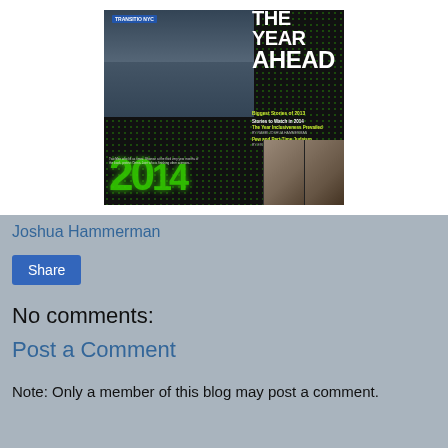[Figure (photo): Magazine cover showing 'The Year Ahead' with text 'Biggest Stories of 2013', 'Stories to Watch in 2014', 'The Year Inclusiveness Prevailed by Rabbi Joshua Hammerman', 'Pew and Part-Time Judaism by Erica Brown'. Shows green dot-matrix style year '2014' and photos of two contributors.]
Joshua Hammerman
Share
No comments:
Post a Comment
Note: Only a member of this blog may post a comment.